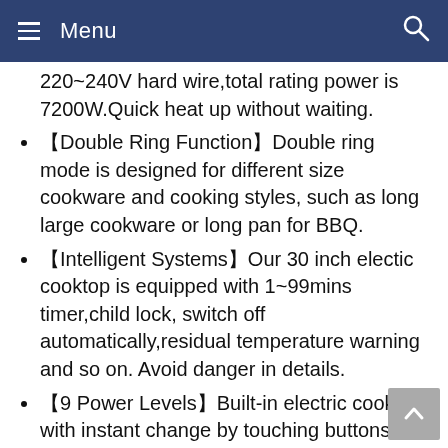Menu
220~240V hard wire,total rating power is 7200W.Quick heat up without waiting.
【Double Ring Function】Double ring mode is designed for different size cookware and cooking styles, such as long large cookware or long pan for BBQ.
【Intelligent Systems】Our 30 inch electic cooktop is equipped with 1~99mins timer,child lock, switch off automatically,residual temperature warning and so on. Avoid danger in details.
【9 Power Levels】Built-in electric cooktop with instant change by touching buttons " + " and " - ". Different power levels can meet your different cooking needs. Can melt butter, keep warm, defrost, stew, boil